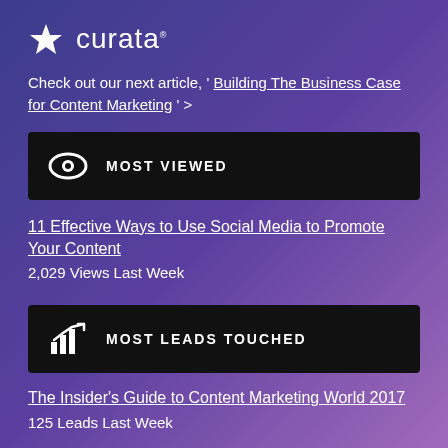[Figure (logo): Curata logo with star icon and text 'curata']
Check out our next article, ' Building The Business Case for Content Marketing ' >
MOST VIEWED
11 Effective Ways to Use Social Media to Promote Your Content
2,029 Views Last Week
MOST LEADS TOUCHED
The Insider's Guide to Content Marketing World 2017
125 Leads Last Week